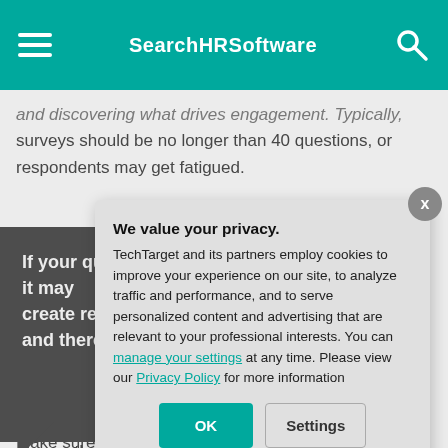SearchHRSoftware
...and discovering what drives engagement. Typically, surveys should be no longer than 40 questions, or respondents may get fatigued.
[Figure (other): Dark pullquote box with white bold text: 'If your questions are vague, it may create resp... and therefo...' with hatch pattern decoration]
Make sure to co... question focuses... phrase the ques... all respondents.... create response... unusable.
We value your privacy.
TechTarget and its partners employ cookies to improve your experience on our site, to analyze traffic and performance, and to serve personalized content and advertising that are relevant to your professional interests. You can manage your settings at any time. Please view our Privacy Policy for more information